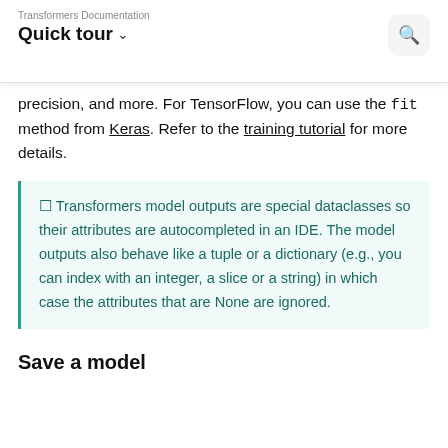Transformers Documentation
Quick tour
precision, and more. For TensorFlow, you can use the fit method from Keras. Refer to the training tutorial for more details.
🔔 Transformers model outputs are special dataclasses so their attributes are autocompleted in an IDE. The model outputs also behave like a tuple or a dictionary (e.g., you can index with an integer, a slice or a string) in which case the attributes that are None are ignored.
Save a model